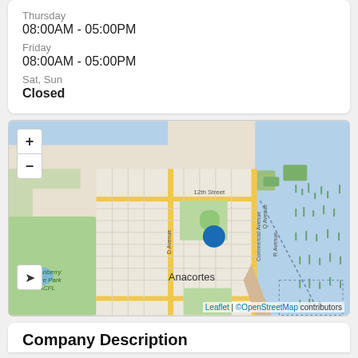Thursday
08:00AM - 05:00PM
Friday
08:00AM - 05:00PM
Sat, Sun
Closed
[Figure (map): OpenStreetMap showing Anacortes area with a blue location pin marker. Map includes street grid, Cranberry Lake Park ACFL, Commercial Avenue, Q Avenue, R Avenue, D Avenue, 12th Street labels. Attribution: Leaflet | ©OpenStreetMap contributors.]
Company Description